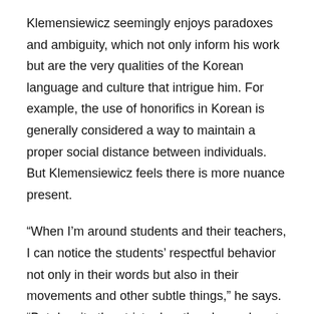Klemensiewicz seemingly enjoys paradoxes and ambiguity, which not only inform his work but are the very qualities of the Korean language and culture that intrigue him. For example, the use of honorifics in Korean is generally considered a way to maintain a proper social distance between individuals. But Klemensiewicz feels there is more nuance present.
“When I’m around students and their teachers, I can notice the students’ respectful behavior not only in their words but also in their movements and other subtle things,” he says. “But despite the strict rules, there’s an almost family-like relationship between them. This is contrary to what I felt in France. We would use first names with our teachers and talk like friends, but I seldom felt close to them.”
He also finds a paradox in the exterior appearances of his